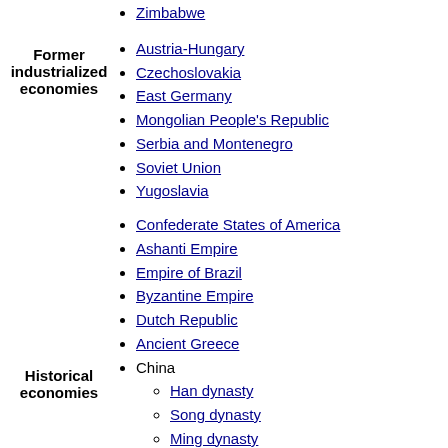Zimbabwe
Former industrialized economies
Austria-Hungary
Czechoslovakia
East Germany
Mongolian People's Republic
Serbia and Montenegro
Soviet Union
Yugoslavia
Historical economies
Confederate States of America
Ashanti Empire
Empire of Brazil
Byzantine Empire
Dutch Republic
Ancient Greece
China
Han dynasty
Song dynasty
Ming dynasty
Republic of China
Ethiopian Empire
Habsburg Monarchy
Inca Empire
Muisca
Ottoman Empire